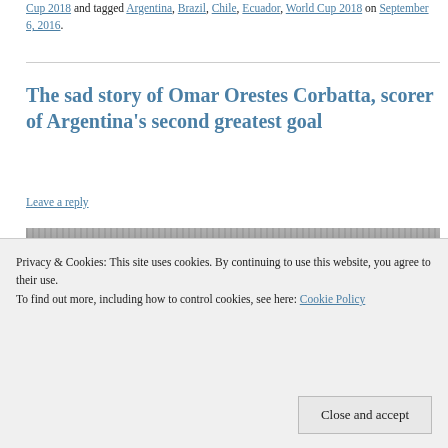Cup 2018 and tagged Argentina, Brazil, Chile, Ecuador, World Cup 2018 on September 6, 2016.
The sad story of Omar Orestes Corbatta, scorer of Argentina's second greatest goal
Leave a reply
[Figure (photo): Black and white photograph of a group of men (football players/team), top portion visible]
Privacy & Cookies: This site uses cookies. By continuing to use this website, you agree to their use.
To find out more, including how to control cookies, see here: Cookie Policy
Close and accept